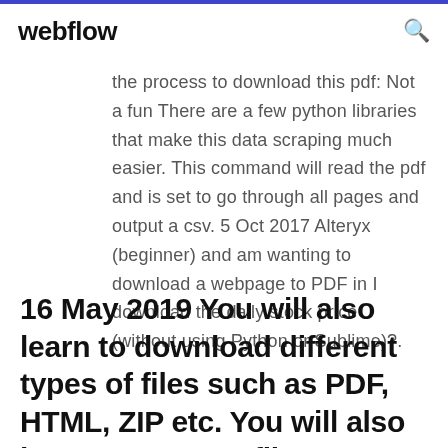webflow
the process to download this pdf: Not a fun There are a few python libraries that make this data scraping much easier. This command will read the pdf and is set to go through all pages and output a csv. 5 Oct 2017 Alteryx (beginner) and am wanting to download a webpage to PDF in I download the daily stock price (without using Python or Sublime)?.
16 May 2019 You will also learn to download different types of files such as PDF, HTML, ZIP etc. You will also learn to create a file downloader with a nice